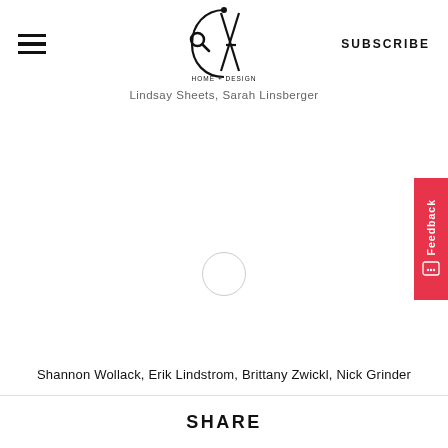CA Home + Design — SUBSCRIBE
Lindsay Sheets, Sarah Linsberger
[Figure (other): Loading spinner / empty circle in center of page]
Shannon Wollack, Erik Lindstrom, Brittany Zwickl, Nick Grinder
SHARE